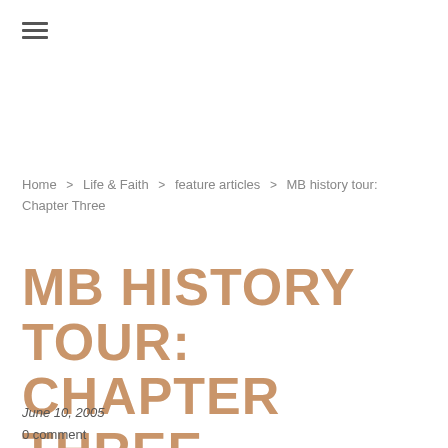[Figure (other): Hamburger menu icon (three horizontal lines)]
Home  >  Life & Faith  >  feature articles  >  MB history tour: Chapter Three
MB HISTORY TOUR: CHAPTER THREE
June 10, 2005
0 comment